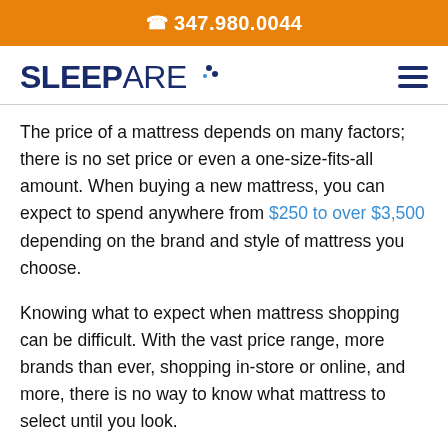📞 347.980.0044
[Figure (logo): SleepAre logo with decorative dots, dark navy blue text, beside a hamburger menu icon]
The price of a mattress depends on many factors; there is no set price or even a one-size-fits-all amount. When buying a new mattress, you can expect to spend anywhere from $250 to over $3,500 depending on the brand and style of mattress you choose.
Knowing what to expect when mattress shopping can be difficult. With the vast price range, more brands than ever, shopping in-store or online, and more, there is no way to know what mattress to select until you look.
Here is a table that better explains the price range of